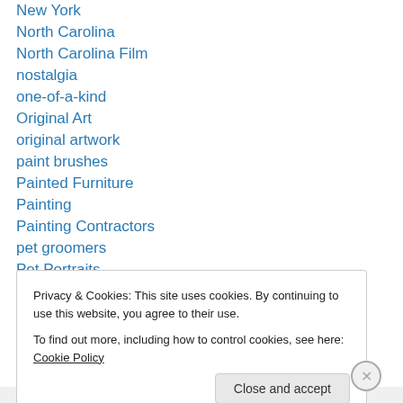New York
North Carolina
North Carolina Film
nostalgia
one-of-a-kind
Original Art
original artwork
paint brushes
Painted Furniture
Painting
Painting Contractors
pet groomers
Pet Portraits
Privacy & Cookies: This site uses cookies. By continuing to use this website, you agree to their use.
To find out more, including how to control cookies, see here: Cookie Policy